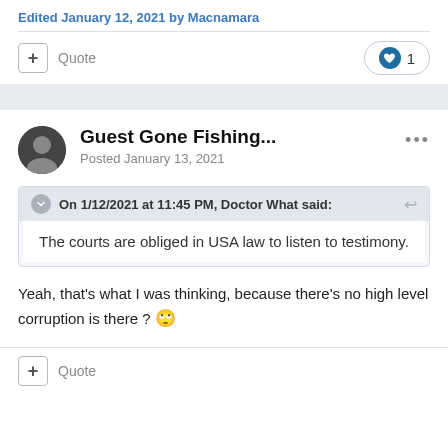Edited January 12, 2021 by Macnamara
+ Quote   ❤ 1
Guest Gone Fishing...
Posted January 13, 2021
On 1/12/2021 at 11:45 PM, Doctor What said:
The courts are obliged in USA law to listen to testimony.
Yeah, that's what I was thinking, because there's no high level corruption is there ? 🙄
+ Quote